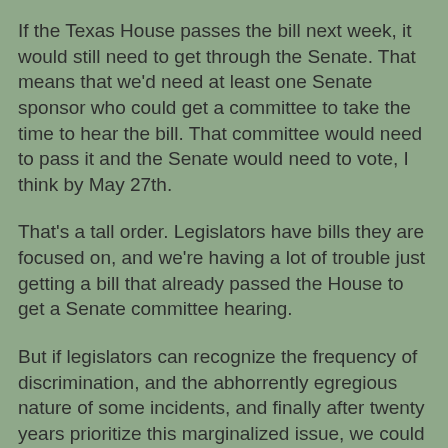If the Texas House passes the bill next week, it would still need to get through the Senate.  That means that we'd need at least one Senate sponsor who could get a committee to take the time to hear the bill.  That committee would need to pass it and the Senate would need to vote, I think by May 27th.
That's a tall order.  Legislators have bills they are focused on, and we're having a lot of trouble just getting a bill that already passed the House to get a Senate committee hearing.
But if legislators can recognize the frequency of discrimination, and the abhorrently egregious nature of some incidents, and finally after twenty years prioritize this marginalized issue, we could have true protection for Texas mothers.
To get there, we need massive involvement from supporters.  So that's where you come in.